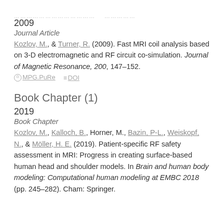2009
Journal Article
Kozlov, M., & Turner, R. (2009). Fast MRI coil analysis based on 3-D electromagnetic and RF circuit co-simulation. Journal of Magnetic Resonance, 200, 147–152.
⊙ MPG.PuRe   ≡ DOI
Book Chapter (1)
2019
Book Chapter
Kozlov, M., Kalloch, B., Horner, M., Bazin, P-L., Weiskopf, N., & Möller, H. E. (2019). Patient-specific RF safety assessment in MRI: Progress in creating surface-based human head and shoulder models. In Brain and human body modeling: Computational human modeling at EMBC 2018 (pp. 245–282). Cham: Springer.